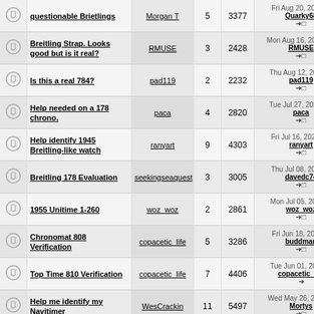|  | Topic | Author | Replies | Views | Last Post |
| --- | --- | --- | --- | --- | --- |
|  | questionable Brietlings | Morgan T | 5 | 3377 | Fri Aug 20, 2021 8:...
Quarky68 ➔□ |
|  | Breitling Strap. Looks good but is it real? | RMUSE | 3 | 2428 | Mon Aug 16, 2021 10:...
RMUSE ➔□ |
|  | Is this a real 784? | pad119 | 2 | 2232 | Thu Aug 12, 2021 8:...
pad119 ➔□ |
|  | Help needed on a 178 chrono. | paca | 4 | 2820 | Tue Jul 27, 2021 12:...
paca ➔□ |
|  | Help identify 1945 Breitling-like watch | ranyart | 9 | 4303 | Fri Jul 16, 2021 4:0...
ranyart ➔□ |
|  | Breitling 178 Evaluation | seekingseaquest | 3 | 3005 | Thu Jul 08, 2021 6:...
davedc74 ➔□ |
|  | 1955 Unitime 1-260 | woz_woz | 2 | 2861 | Mon Jul 05, 2021 6:...
woz_woz ➔□ |
|  | Chronomat 808 Verification | copacetic_life | 5 | 3286 | Fri Jun 18, 2021 1:...
buddman ➔□ |
|  | Top Time 810 Verification | copacetic_life | 7 | 4406 | Tue Jun 01, 2021 3:...
copacetic_life ➔ |
|  | Help me identify my Navitimer | WesCrackin | 11 | 5497 | Wed May 26, 2021 4:...
Mortys ➔□ |